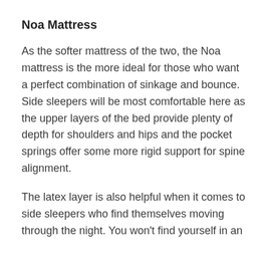Noa Mattress
As the softer mattress of the two, the Noa mattress is the more ideal for those who want a perfect combination of sinkage and bounce. Side sleepers will be most comfortable here as the upper layers of the bed provide plenty of depth for shoulders and hips and the pocket springs offer some more rigid support for spine alignment.
The latex layer is also helpful when it comes to side sleepers who find themselves moving through the night. You won’t find yourself in an